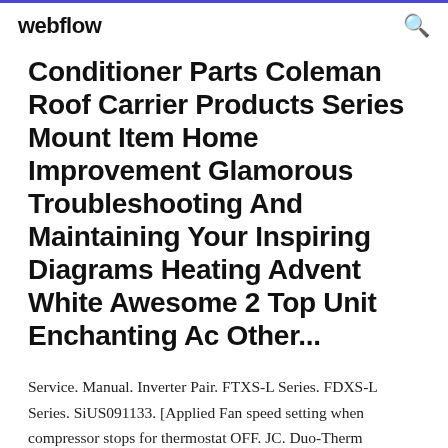webflow
Conditioner Parts Coleman Roof Carrier Products Series Mount Item Home Improvement Glamorous Troubleshooting And Maintaining Your Inspiring Diagrams Heating Advent White Awesome 2 Top Unit Enchanting Ac Other...
Service. Manual. Inverter Pair. FTXS-L Series. FDXS-L Series. SiUS091133. [Applied Fan speed setting when compressor stops for thermostat OFF. JC. Duo-Therm Diagnostic Service Manual Comfort Control Center is a comprehensive